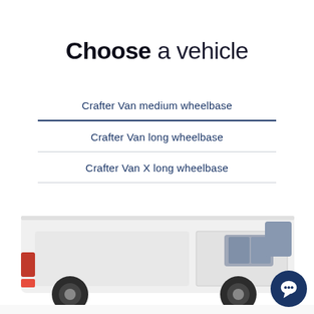Choose a vehicle
Crafter Van medium wheelbase
Crafter Van long wheelbase
Crafter Van X long wheelbase
[Figure (photo): White VW Crafter van shown from the side, partially cropped at bottom of page]